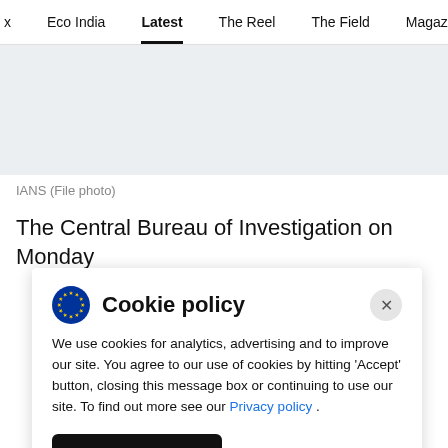x  Eco India  Latest  The Reel  The Field  Magazine  Video
[Figure (photo): Gray placeholder image area]
IANS (File photo)
The Central Bureau of Investigation on Monday
Cookie policy
We use cookies for analytics, advertising and to improve our site. You agree to our use of cookies by hitting 'Accept' button, closing this message box or continuing to use our site. To find out more see our Privacy policy .
Accept